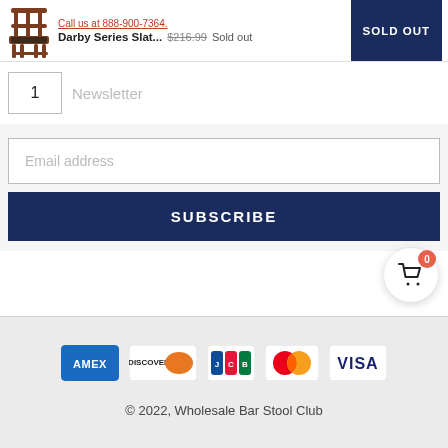Call us at 888-900-7364. Darby Series Slat... $216.99 Sold out SOLD OUT
1
Newsletter
Email address
SUBSCRIBE
[Figure (infographic): Shopping cart icon with badge showing 0 items]
[Figure (infographic): Payment method icons: AMEX, DISCOVER, JCB, Mastercard, VISA]
© 2022, Wholesale Bar Stool Club